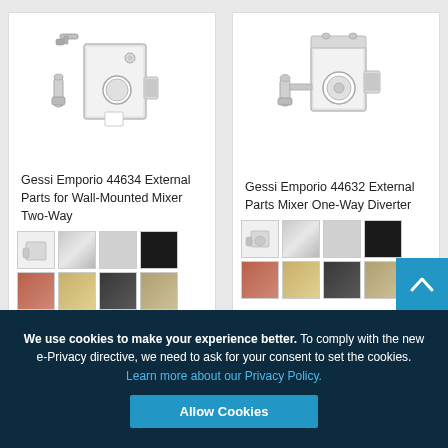[Figure (photo): Gessi Emporio 44634 External Parts for Wall-Mounted Mixer Two-Way product image - disassembled metal components including plate, cylinder and fittings in chrome finish]
Gessi Emporio 44634 External Parts for Wall-Mounted Mixer Two-Way
[Figure (photo): Color swatches for Gessi Emporio 44634: chrome/white, brushed nickel, light gray, black, rose copper, champagne gold, dark gray, taupe]
[Figure (photo): Gessi Emporio 44632 External Parts Mixer One-Way Diverter product image - assembled chrome metal lock/mixer component]
Gessi Emporio 44632 External Parts Mixer One-Way Diverter
[Figure (photo): Color swatches for Gessi Emporio 44632: chrome/white, brushed nickel, light gray, black, rose copper, champagne gold, dark gray, taupe]
We use cookies to make your experience better. To comply with the new e-Privacy directive, we need to ask for your consent to set the cookies. Learn more about our Privacy Policy.
Allow Cookies